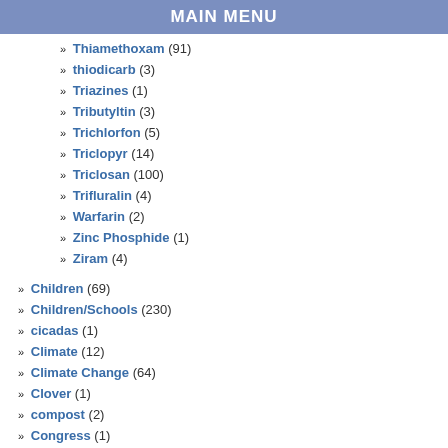MAIN MENU
» Thiamethoxam (91)
» thiodicarb (3)
» Triazines (1)
» Tributyltin (3)
» Trichlorfon (5)
» Triclopyr (14)
» Triclosan (100)
» Trifluralin (4)
» Warfarin (2)
» Zinc Phosphide (1)
» Ziram (4)
» Children (69)
» Children/Schools (230)
» cicadas (1)
» Climate (12)
» Climate Change (64)
» Clover (1)
» compost (2)
» Congress (1)
» contamination (122)
► Corporations (989)
► Disease/Health Effects (1371)
» Disinfectants & Sanitizers (13)